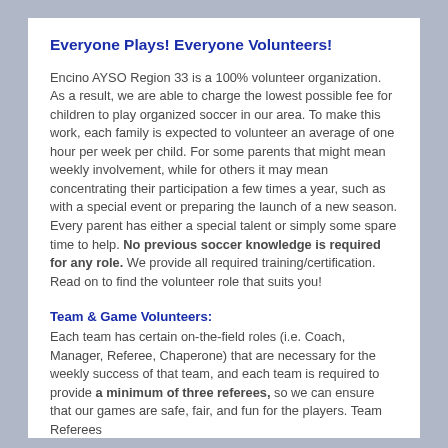Everyone Plays!  Everyone Volunteers!
Encino AYSO Region 33 is a 100% volunteer organization.  As a result, we are able to charge the lowest possible fee for children to play organized soccer in our area. To make this work, each family is expected to volunteer an average of one hour per week per child.  For some parents that might mean weekly involvement, while for others it may mean concentrating their participation a few times a year, such as with a special event or preparing the launch of a new season. Every parent has either a special talent or simply some spare time to help.  No previous soccer knowledge is required for any role.  We provide all required training/certification. Read on to find the volunteer role that suits you!
Team & Game Volunteers:
Each team has certain on-the-field roles (i.e. Coach, Manager, Referee, Chaperone) that are necessary for the weekly success of that team, and each team is required to provide a minimum of three referees, so we can ensure that our games are safe, fair, and fun for the players. Team Referees